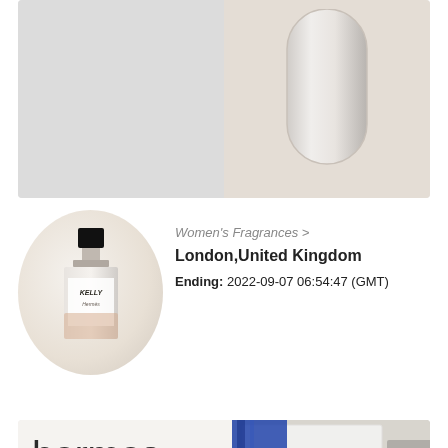[Figure (photo): Top listing card showing two panel image: left panel is a grey/white background, right panel shows a close-up of a clear glass perfume bottle bottom edge on a cream/beige background]
[Figure (photo): Circular cropped photo of a perfume bottle labeled KELLY, with black cap, on a light background]
Women's Fragrances >
London,United Kingdom
Ending: 2022-09-07 06:54:47 (GMT)
[Figure (photo): Bottom listing card partially visible: left side shows large text 'hermes silk scarf brand new, Never Worn, with receipt' on light background; right side shows photo of stacked scarves with orange Hermès box visible]